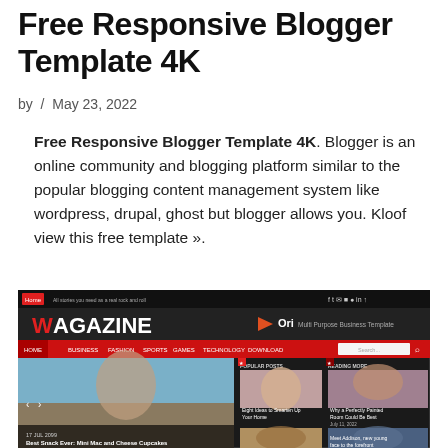Free Responsive Blogger Template 4K
by  /  May 23, 2022
Free Responsive Blogger Template 4K. Blogger is an online community and blogging platform similar to the popular blogging content management system like wordpress, drupal, ghost but blogger allows you. Kloof view this free template ».
[Figure (screenshot): Screenshot of Wagazine blogger template showing dark header with navigation menu, magazine-style layout with featured image of woman wearing sunglasses, and grid of article thumbnails]